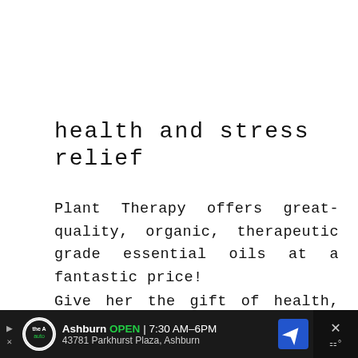health and stress relief
Plant Therapy offers great-quality, organic, therapeutic grade essential oils at a fantastic price!
Give her the gift of health, vitality, and natural fragrance with this
[Figure (screenshot): Advertisement banner at bottom of page. Shows 'the A auto' logo circle, text 'Ashburn OPEN 7:30AM-6PM' and '43781 Parkhurst Plaza, Ashburn', a blue navigation arrow icon, and a dark close/dismiss button with X and thermometer icons.]